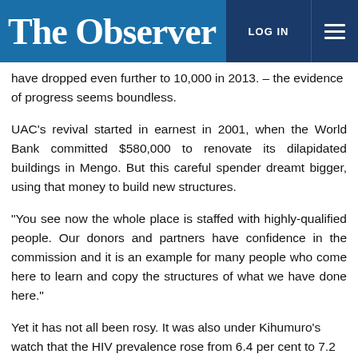The Observer | LOG IN
have dropped even further to 10,000 in 2013. – the evidence of progress seems boundless.
UAC's revival started in earnest in 2001, when the World Bank committed $580,000 to renovate its dilapidated buildings in Mengo. But this careful spender dreamt bigger, using that money to build new structures.
“You see now the whole place is staffed with highly-qualified people. Our donors and partners have confidence in the commission and it is an example for many people who come here to learn and copy the structures of what we have done here.”
Yet it has not all been rosy. It was also under Kihumuro’s watch that the HIV prevalence rose from 6.4 per cent to 7.2 per cent. He suggests that although ARVs have been part of the solution